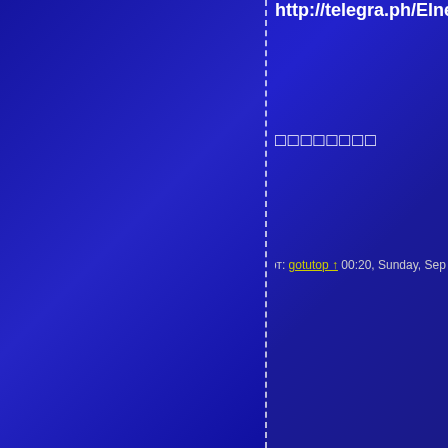http://telegra.ph/Elnen-Riesch-...
□□□□□□□□
от: gotutop ↑ 00:20, Sunday, Sep 05, 2021 ×
http://gointop.site/forumdisplay...
http://telegra.ph/GorД…ce-i-w...
http://telegra.ph/Skachat-Maler...
http://telegra.ph/Beine-spreizer...
http://vk.com/topic-941285_47...
http://telegra.ph/Desperate-Ho...
http://telegra.ph/Seks-Mama-U...
http://telegra.ph/Russian-Orgy-...
http://telegra.ph/РГ%uC2ADcl...
http://telegra.ph/Geile-Latina-S...
http://telegra.ph/Abspritzen---D...
http://telegra.ph/Geschiedene-S...
http://telegra.ph/Sex-zu-dritt-m...
http://telegra.ph/Seks-S-Devus...
http://telegra.ph/Flirtogramm-F...